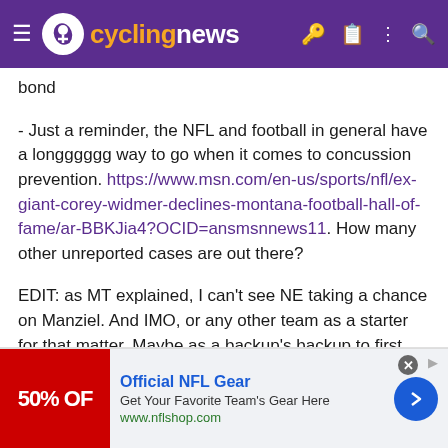cyclingnews
bond
- Just a reminder, the NFL and football in general have a longggggg way to go when it comes to concussion prevention. https://www.msn.com/en-us/sports/nfl/ex-giant-corey-widmer-declines-montana-football-hall-of-fame/ar-BBKJia4?OCID=ansmsnnews11. How many other unreported cases are out there?
EDIT: as MT explained, I can't see NE taking a chance on Manziel. And IMO, or any other team as a starter for that matter. Maybe as a backup's backup to first prove self.
[Figure (screenshot): Advertisement banner for Official NFL Gear showing 50% OFF red banner, ad title, subtitle 'Get Your Favorite Team's Gear Here', link 'www.nflshop.com', and a blue arrow circle button.]